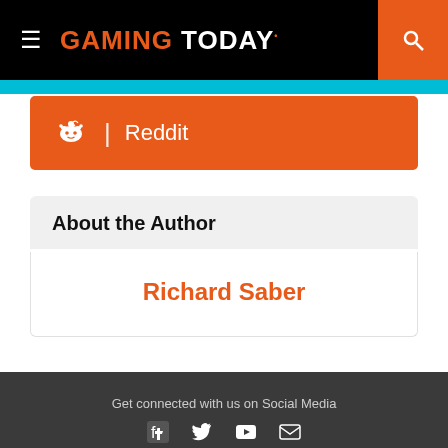GAMING TODAY
Reddit
About the Author
Richard Saber
Get connected with us on Social Media
Gaming Today